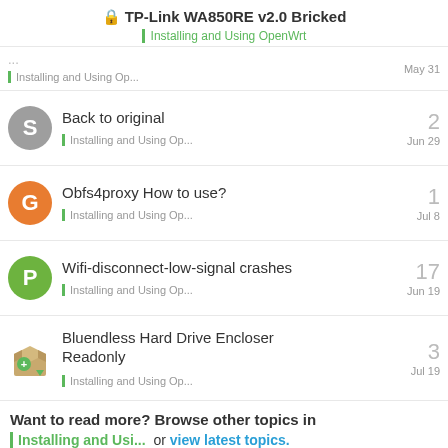TP-Link WA850RE v2.0 Bricked
Installing and Using OpenWrt
Installing and Using Op...	May 31
Back to original
Installing and Using Op...	2
Jun 29
Obfs4proxy How to use?
Installing and Using Op...	1
Jul 8
Wifi-disconnect-low-signal crashes
Installing and Using Op...	17
Jun 19
Bluendless Hard Drive Encloser Readonly
Installing and Using Op...	3
Jul 19
Want to read more? Browse other topics in
Installing and Usi...   or view latest topics.